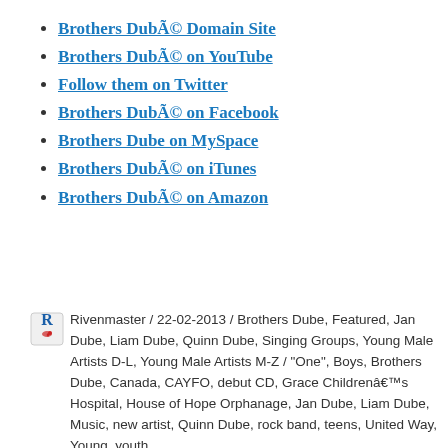Brothers Dubé Domain Site
Brothers Dubé on YouTube
Follow them on Twitter
Brothers Dubé on Facebook
Brothers Dube on MySpace
Brothers Dubé on iTunes
Brothers Dubé on Amazon
Rivenmaster / 22-02-2013 / Brothers Dube, Featured, Jan Dube, Liam Dube, Quinn Dube, Singing Groups, Young Male Artists D-L, Young Male Artists M-Z / "One", Boys, Brothers Dube, Canada, CAYFO, debut CD, Grace Childrenâ€™s Hospital, House of Hope Orphanage, Jan Dube, Liam Dube, Music, new artist, Quinn Dube, rock band, teens, United Way, Young, youth